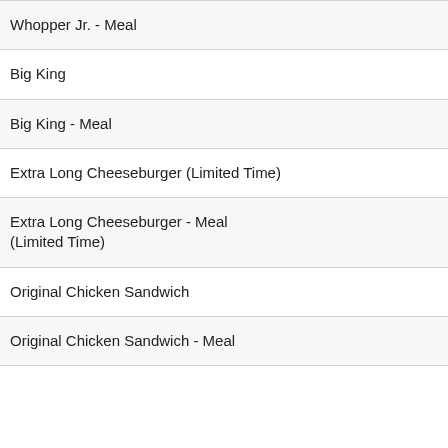Whopper Jr. - Meal
Big King
Big King - Meal
Extra Long Cheeseburger (Limited Time)
Extra Long Cheeseburger - Meal (Limited Time)
Original Chicken Sandwich
Original Chicken Sandwich - Meal